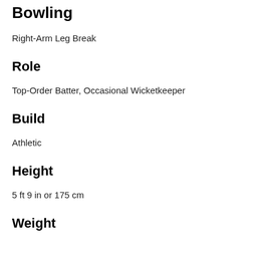Bowling
Right-Arm Leg Break
Role
Top-Order Batter, Occasional Wicketkeeper
Build
Athletic
Height
5 ft 9 in or 175 cm
Weight